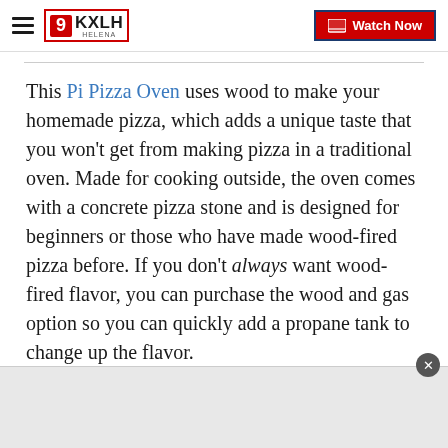KXLH Helena – Watch Now
This Pi Pizza Oven uses wood to make your homemade pizza, which adds a unique taste that you won't get from making pizza in a traditional oven. Made for cooking outside, the oven comes with a concrete pizza stone and is designed for beginners or those who have made wood-fired pizza before. If you don't always want wood-fired flavor, you can purchase the wood and gas option so you can quickly add a propane tank to change up the flavor.